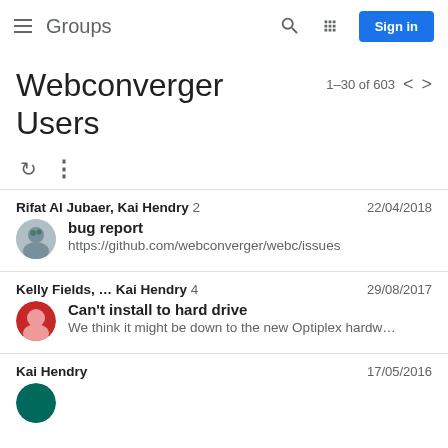Groups | Sign in
Webconverger Users
1–30 of 603
Rifat Al Jubaer, Kai Hendry 2 | 22/04/2018 | bug report | https://github.com/webconverger/webc/issues
Kelly Fields, ... Kai Hendry 4 | 29/08/2017 | Can't install to hard drive | We think it might be down to the new Optiplex hardw…
Kai Hendry | 17/05/2016